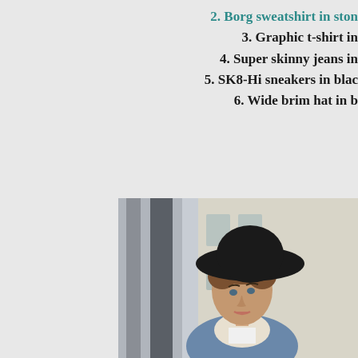2. Borg sweatshirt in ston
3. Graphic t-shirt in
4. Super skinny jeans in
5. SK8-Hi sneakers in blac
6. Wide brim hat in b
[Figure (photo): Young man wearing a wide brim black hat and a blue denim jacket with sherpa/borg collar, photographed outdoors in front of a building with blurred background.]